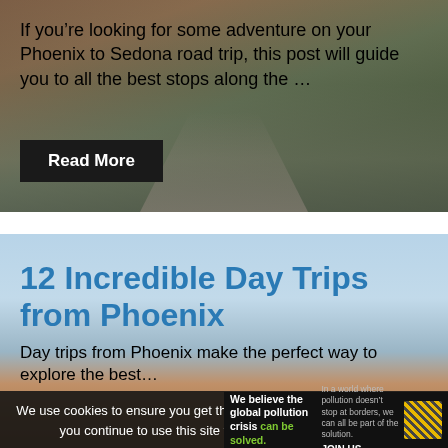[Figure (photo): Road leading toward red rock formations with desert landscape and vegetation, partially overlaid with translucent image]
If you’re looking for some adventure on your Phoenix to Sedona road trip, this post will guide you to all the best stops along the …
Read More
[Figure (photo): Blue sky with red rock buttes (Sedona area), used as background for an article card]
12 Incredible Day Trips from Phoenix
Day trips from Phoenix make the perfect way to explore the best…
We use cookies to ensure you get the best experience on our website. If you continue to use this site we assume you like cookies.
We believe the global pollution crisis can be solved. In a world where pollution doesn’t stop at borders, we can all be part of the solution. JOIN US.